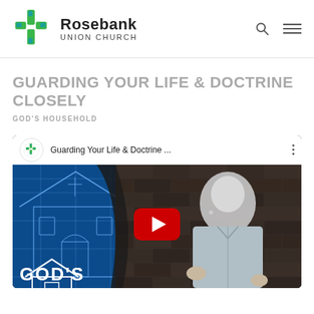[Figure (logo): Rosebank Union Church logo — green cross icon with 'Rosebank UNION CHURCH' text, search icon and hamburger menu icon on right]
GUARDING YOUR LIFE & DOCTRINE CLOSELY
GOD'S HOUSEHOLD
[Figure (screenshot): YouTube video embed thumbnail showing a man speaking against a brick wall background, with blue architectural/church illustration on the left panel. Video title: 'Guarding Your Life & Doctrine ...' with Rosebank church channel icon. Red YouTube play button in center. 'GOD'S' text visible at bottom left.]